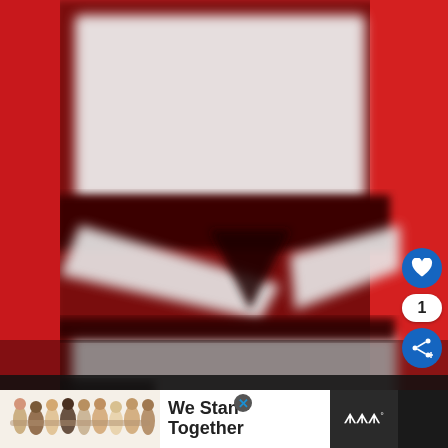[Figure (photo): Close-up blurry photo of a red mailbox or cabinet with white rectangular panels/slots visible, shot against a red background. The image is heavily blurred with dark and white rectangular shapes arranged vertically.]
[Figure (photo): Advertisement banner at the bottom showing a group of people standing together with arms around each other, with text 'We Stand Together' on white background. Has a close button (X) and a TV/media logo on the right side.]